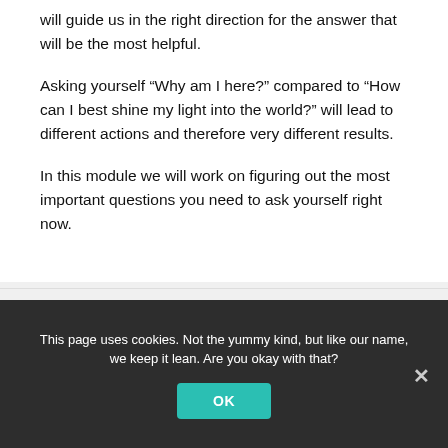is there's important to figure out the questions that will guide us in the right direction for the answer that will be the most helpful.
Asking yourself “Why am I here?” compared to “How can I best shine my light into the world?” will lead to different actions and therefore very different results.
In this module we will work on figuring out the most important questions you need to ask yourself right now.
This page uses cookies. Not the yummy kind, but like our name, we keep it lean. Are you okay with that?